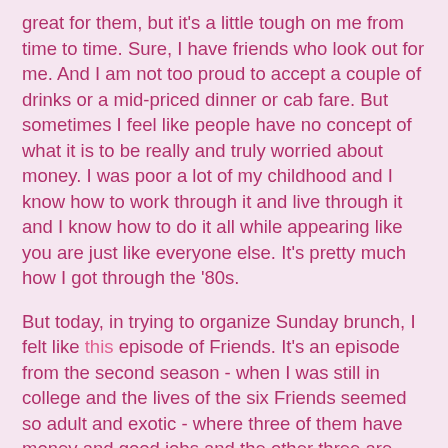great for them, but it's a little tough on me from time to time. Sure, I have friends who look out for me. And I am not too proud to accept a couple of drinks or a mid-priced dinner or cab fare. But sometimes I feel like people have no concept of what it is to be really and truly worried about money. I was poor a lot of my childhood and I know how to work through it and live through it and I know how to do it all while appearing like you are just like everyone else. It's pretty much how I got through the '80s.
But today, in trying to organize Sunday brunch, I felt like this episode of Friends. It's an episode from the second season - when I was still in college and the lives of the six Friends seemed so adult and exotic - where three of them have money and good jobs and the other three are stressed out. It all culminates at a dinner to celebrate Monica's new job when they are out at an expensive restaurant and the three poor Friends order a side salad, and a couple of appetizers amongst them while the three well-employed Friends order steaks and lobsters and wine and when the bill arrives, Ross and Chandler divide it by five (it's Monica's dinner so she doesn't have to pay is the idea). And the poor Friends freak